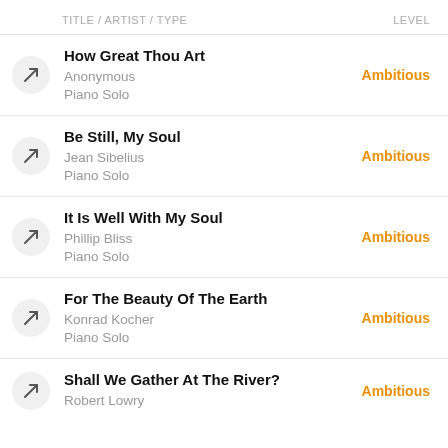TITLE / ARTIST / TYPE    LEVEL
How Great Thou Art | Anonymous | Piano Solo | Ambitious
Be Still, My Soul | Jean Sibelius | Piano Solo | Ambitious
It Is Well With My Soul | Phillip Bliss | Piano Solo | Ambitious
For The Beauty Of The Earth | Konrad Kocher | Piano Solo | Ambitious
Shall We Gather At The River? | Robert Lowry | Ambitious